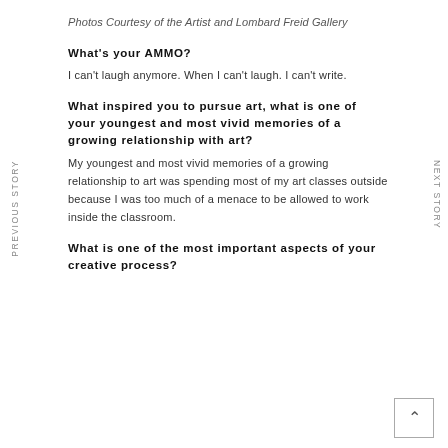Photos Courtesy of the Artist and Lombard Freid Gallery
What's your AMMO?
I can't laugh anymore. When I can't laugh. I can't write.
What inspired you to pursue art, what is one of your youngest and most vivid memories of a growing relationship with art?
My youngest and most vivid memories of a growing relationship to art was spending most of my art classes outside because I was too much of a menace to be allowed to work inside the classroom.
What is one of the most important aspects of your creative process?
PREVIOUS STORY
NEXT STORY